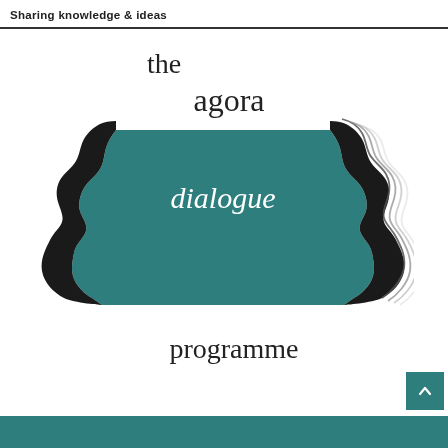Sharing knowledge & ideas
[Figure (logo): The Agora Dialogue Programme logo: two facing silhouettes forming a teal trapezoid shape with 'dialogue' written in white serif text across the middle. Additional faded profile silhouettes appear to the right. Above the shape is 'the agora' text in serif font, and below is 'programme' in serif font.]